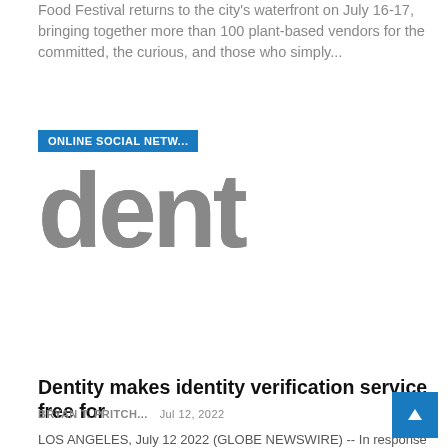Food Festival returns to the city's waterfront on July 16-17, bringing together more than 100 plant-based vendors for the committed, the curious, and those who simply...
[Figure (logo): Online social network badge (blue label 'ONLINE SOCIAL NETW...') with large partial logo text 'dent' in grey]
Dentity makes identity verification service free for
BRYAN T. PRITCH...   Jul 12, 2022
LOS ANGELES, July 12 2022 (GLOBE NEWSWIRE) -- In response to the recent termination of the Twitter acquisition, Dentity, the Web3 identity leader, announces that it has made its verified identity program free to all consumers. Thousands...
[Figure (logo): Real world network badge (blue label 'REAL WORLD NETWOR...') with partial blue M logo]